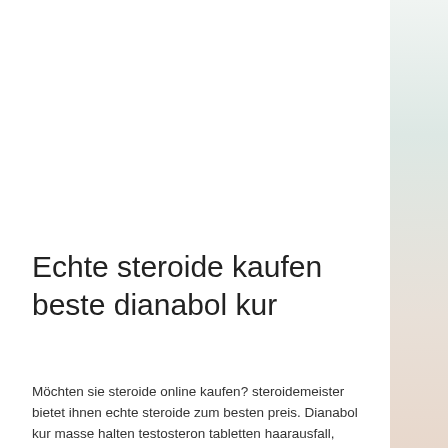Echte steroide kaufen beste dianabol kur
Möchten sie steroide online kaufen? steroidemeister bietet ihnen echte steroide zum besten preis. Dianabol kur masse halten testosteron tabletten haarausfall, deutsches anabolika kaufen köpa anabola